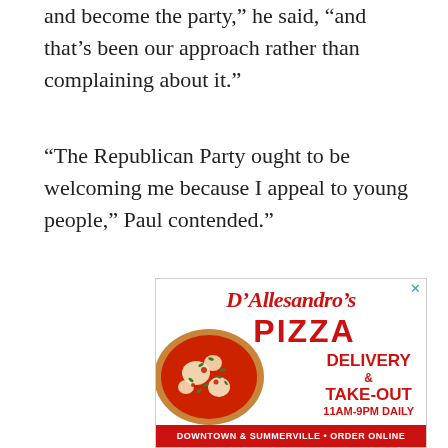and become the party,” he said, “and that’s been our approach rather than complaining about it.”
“The Republican Party ought to be welcoming me because I appeal to young people,” Paul contended.”
[Figure (other): Advertisement for D'Allesandro's Pizza showing logo in red script and bold letters, a pizza image, and text reading DELIVERY & TAKE-OUT 11AM-9PM DAILY, with a red footer bar reading DOWNTOWN & SUMMERVILLE • ORDER ONLINE]